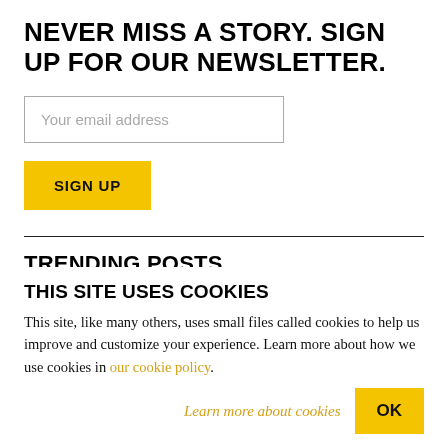NEVER MISS A STORY. SIGN UP FOR OUR NEWSLETTER.
Your email address
SIGN UP
TRENDING POSTS
Nancy Pelosi Taiwan visit could get us all killed
Hate Verizon's customer service? Blame their labor
THIS SITE USES COOKIES
This site, like many others, uses small files called cookies to help us improve and customize your experience. Learn more about how we use cookies in our cookie policy.
Learn more about cookies
OK